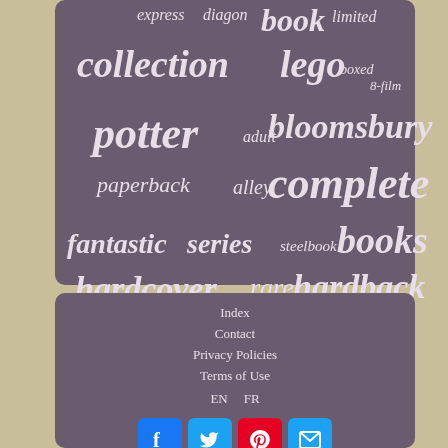[Figure (infographic): Tag cloud on dark purple/mauve rounded rectangle background with terms: express, diagon, book, limited, collection, lego, boxed, 8-film, potter, adult, bloomsbury, paperback, alley, complete, fantastic, series, steelbook, books, hardcover, rare, hardback]
Index
Contact
Privacy Policies
Terms of Use
EN  FR
[Figure (infographic): Social media icons: Facebook (blue), Twitter (blue), Pinterest (red), Email (blue)]